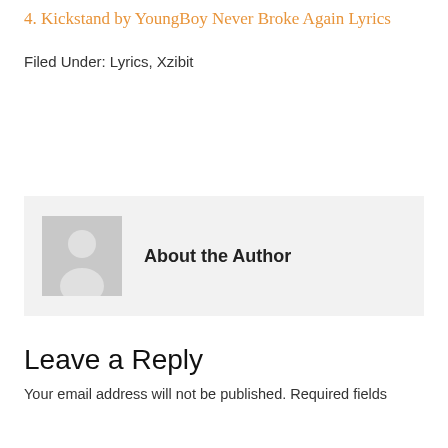4. Kickstand by YoungBoy Never Broke Again Lyrics
Filed Under: Lyrics, Xzibit
[Figure (illustration): Author box with placeholder avatar (grey silhouette) and the text 'About the Author']
Leave a Reply
Your email address will not be published. Required fields